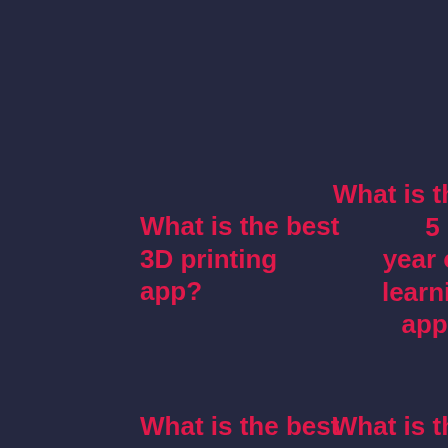What is the best 3D printing app?
What is the best 5 year old learning app?
What is the best...
What is the best...